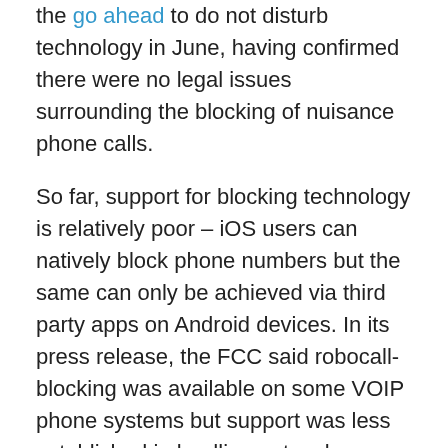the go ahead to do not disturb technology in June, having confirmed there were no legal issues surrounding the blocking of nuisance phone calls.
So far, support for blocking technology is relatively poor – iOS users can natively block phone numbers but the same can only be achieved via third party apps on Android devices. In its press release, the FCC said robocall-blocking was available on some VOIP phone systems but support was less established in landline networks.
The FCC clearly hopes that situation will improve in time, especially given the magnitude of the workload it faces in processing in excess of 200,000 such complaints annually in what it describes as its largest